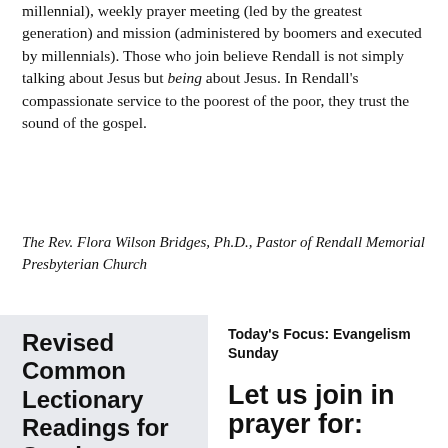millennial), weekly prayer meeting (led by the greatest generation) and mission (administered by boomers and executed by millennials). Those who join believe Rendall is not simply talking about Jesus but being about Jesus. In Rendall's compassionate service to the poorest of the poor, they trust the sound of the gospel.
The Rev. Flora Wilson Bridges, Ph.D., Pastor of Rendall Memorial Presbyterian Church
Revised Common Lectionary Readings for Sunday, September 27,
Today's Focus:  Evangelism Sunday
Let us join in prayer for:
PC(USA) Agencies' Staff
Emily Odom, Presbyterian